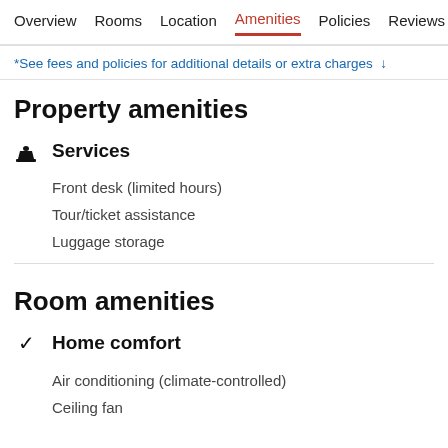Overview  Rooms  Location  Amenities  Policies  Reviews
*See fees and policies for additional details or extra charges ↓
Property amenities
Services
Front desk (limited hours)
Tour/ticket assistance
Luggage storage
Room amenities
Home comfort
Air conditioning (climate-controlled)
Ceiling fan